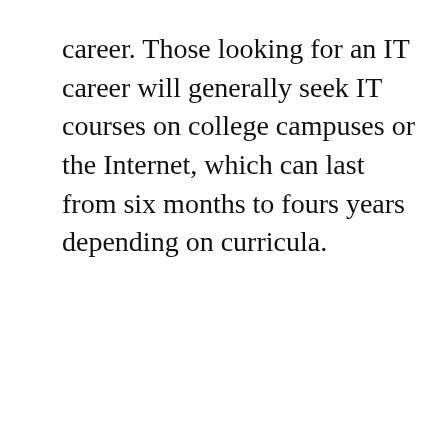career. Those looking for an IT career will generally seek IT courses on college campuses or the Internet, which can last from six months to fours years depending on curricula.